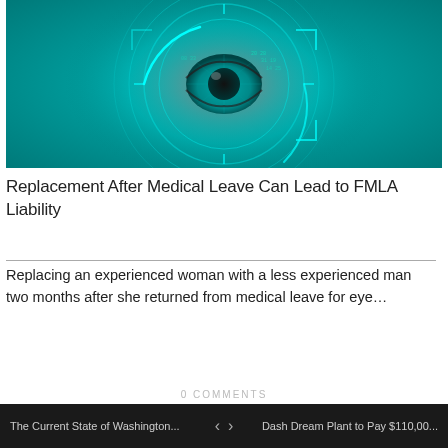[Figure (photo): Close-up of a human eye surrounded by glowing teal/cyan digital circular HUD rings with neon light effects on a teal background, suggesting biometric technology.]
Replacement After Medical Leave Can Lead to FMLA Liability
Replacing an experienced woman with a less experienced man two months after she returned from medical leave for eye…
The Current State of Washington... < > Dash Dream Plant to Pay $110,00...
0 COMMENTS